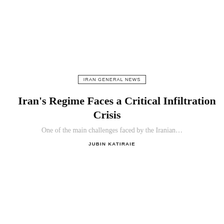IRAN GENERAL NEWS
Iran’s Regime Faces a Critical Infiltration Crisis
One of the main challenges faced by the Iranian…
JUBIN KATIRAIE